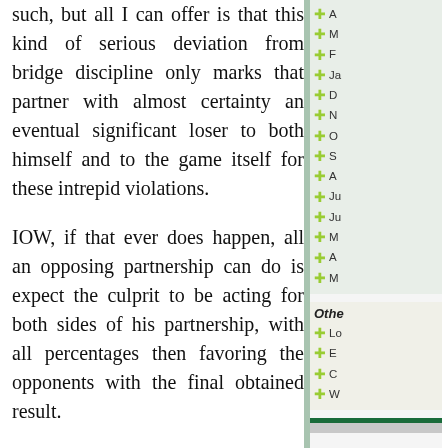such, but all I can offer is that this kind of serious deviation from bridge discipline only marks that partner with almost certainty an eventual significant loser to both himself and to the game itself for these intrepid violations.
IOW, if that ever does happen, all an opposing partnership can do is expect the culprit to be acting for both sides of his partnership, with all percentages then favoring the opponents with the final obtained result.
Yes, then with South, the original take out doubler, being a more or